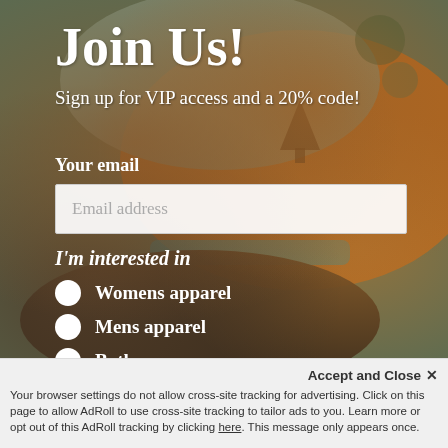[Figure (photo): Background photo of person wearing an orange/brown trucker cap with a tree logo and blue brim, viewed from behind]
Join Us!
Sign up for VIP access and a 20% code!
Your email
Email address
I'm interested in
Womens apparel
Mens apparel
Both
Accept and Close ✕
Your browser settings do not allow cross-site tracking for advertising. Click on this page to allow AdRoll to use cross-site tracking to tailor ads to you. Learn more or opt out of this AdRoll tracking by clicking here. This message only appears once.